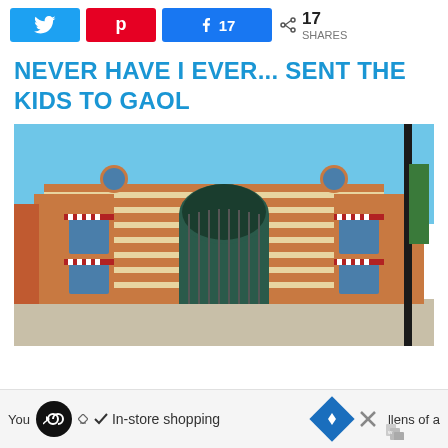[Figure (screenshot): Social media share buttons: Twitter (blue), Pinterest (red), Facebook with count 17 (blue), and share icon with 17 SHARES]
NEVER HAVE I EVER... SENT THE KIDS TO GAOL
[Figure (photo): Photograph of a historic red and cream brick gaol (jail) building with arched iron gate entrance, striped awnings, round windows, and a clear blue sky]
[Figure (screenshot): Advertisement bar showing: play/infinity icon, checkmark 'In-store shopping', blue diamond navigation icon, X close button, partial text on left 'You' and right 'llens of a']